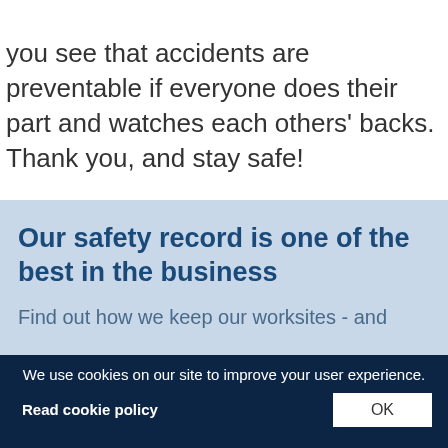you see that accidents are preventable if everyone does their part and watches each others' backs. Thank you, and stay safe!
Our safety record is one of the best in the business
Find out how we keep our worksites - and
We use cookies on our site to improve your user experience.
Read cookie policy
OK